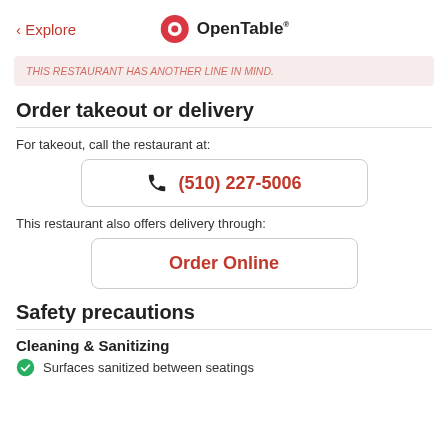< Explore | OpenTable
THIS RESTAURANT HAS ANOTHER LINE IN MIND.
Order takeout or delivery
For takeout, call the restaurant at:
(510) 227-5006
This restaurant also offers delivery through:
Order Online
Safety precautions
Cleaning & Sanitizing
Surfaces sanitized between seatings